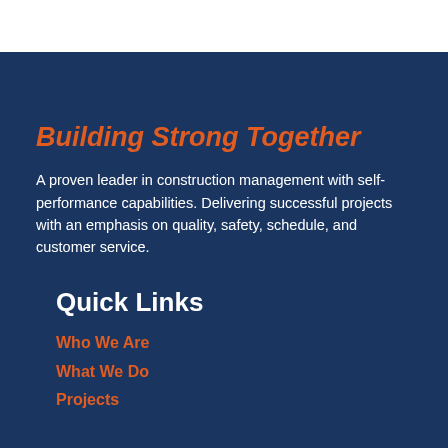Building Strong Together
A proven leader in construction management with self-performance capabilities. Delivering successful projects with an emphasis on quality, safety, schedule, and customer service.
Quick Links
Who We Are
What We Do
Projects